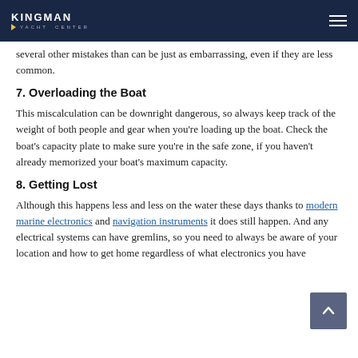KINGMAN YACHT CENTER
several other mistakes than can be just as embarrassing, even if they are less common.
7. Overloading the Boat
This miscalculation can be downright dangerous, so always keep track of the weight of both people and gear when you're loading up the boat. Check the boat's capacity plate to make sure you're in the safe zone, if you haven't already memorized your boat's maximum capacity.
8. Getting Lost
Although this happens less and less on the water these days thanks to modern marine electronics and navigation instruments it does still happen. And any electrical systems can have gremlins, so you need to always be aware of your location and how to get home regardless of what electronics you have